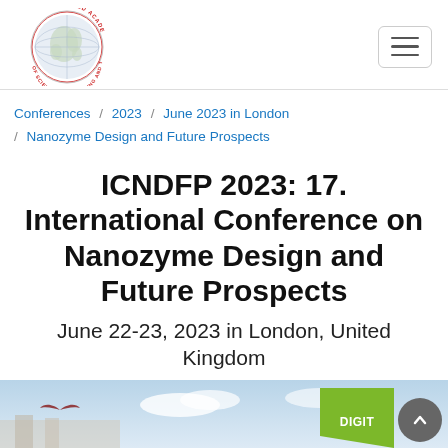[Figure (logo): World Academy of Science, Engineering and Technology circular logo with globe image and red text around border]
Conferences / 2023 / June 2023 in London / Nanozyme Design and Future Prospects
ICNDFP 2023: 17. International Conference on Nanozyme Design and Future Prospects
June 22-23, 2023 in London, United Kingdom
[Figure (photo): Partial view of a conference or travel-related banner image with a bird in flight against a sky background, with a green 'DIGIT' badge in the corner]